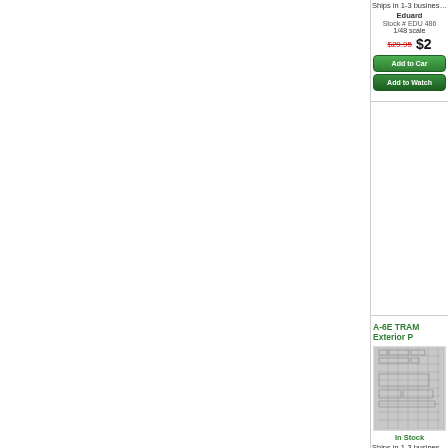Ships in 1-3 business days
Eduard
Stock # EDU 486
1/48 scale
$29.95  $2
Add to Cart
Add to Watch
A-6E TRAM Exterior P
[Figure (photo): A-6E TRAM Exterior parts photo-etch sheet for 1/48 scale model kit by Eduard]
In Stock
Ships in 1-3 business days
Eduard
Stock # EDU 488
1/48 scale
$34.95  $2
Add to Cart
Add to Watch